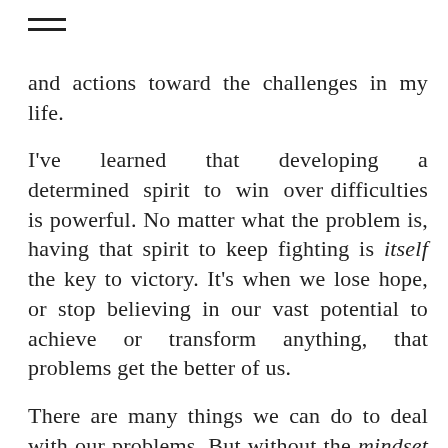≡
and actions toward the challenges in my life.
I've learned that developing a determined spirit to win over difficulties is powerful. No matter what the problem is, having that spirit to keep fighting is itself the key to victory. It's when we lose hope, or stop believing in our vast potential to achieve or transform anything, that problems get the better of us.
There are many things we can do to deal with our problems. But without the mindset toward winning ultimate victory, the results are compromised.